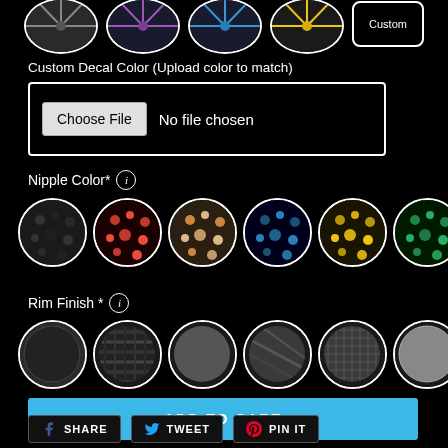[Figure (screenshot): Partial bicycle wheel images shown as circular thumbnails at top of page, with a 'Custom' labeled option at far right]
Custom Decal Color (Upload color to match)
[Figure (screenshot): File upload input box with 'Choose File' button and 'No file chosen' text]
Nipple Color* (i)
[Figure (screenshot): Six circular color swatches for Nipple Color: black, red, bronze/tan, blue, gold/yellow, green]
Rim Finish * (i)
[Figure (screenshot): Six circular texture swatches for Rim Finish: matte black, carbon weave, gray, dark smooth, grid texture, light gray]
ADD TO CART
SHARE
TWEET
PIN IT